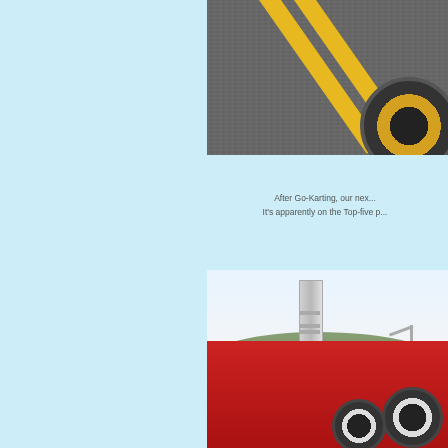[Figure (photo): Close-up photo of asphalt road surface with yellow diagonal lines and a go-kart tire visible in the lower right corner]
After Go-Karting, our nex... It's apparently on the Top-five p...
[Figure (photo): Photo of a red go-kart or racing car with large tires, a concrete utility pole in the background, trees and sky visible]